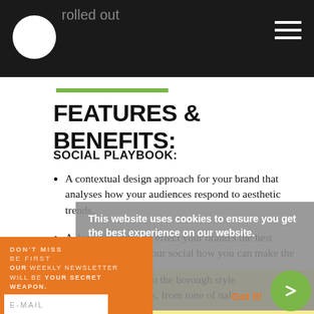rolled out
FEATURES & BENEFITS:
SOCIAL PLAYBOOK:
A contextual design approach for your brand that analyses how your audiences respond to aesthetic trends.
A deep dive into the effect your brand's the best experience has on your social how you can make the eative identity
line visual identity to the borough style directive for systems, from tone of nal approach.
This website uses cookies to ensure you get the best experience on our website.
Learn more
Got it!
DON'T MISS BE FIRST OUR WEEKLY NEWSLETTER WILL BE YOUR SECRET WEAPON.
E-MAIL